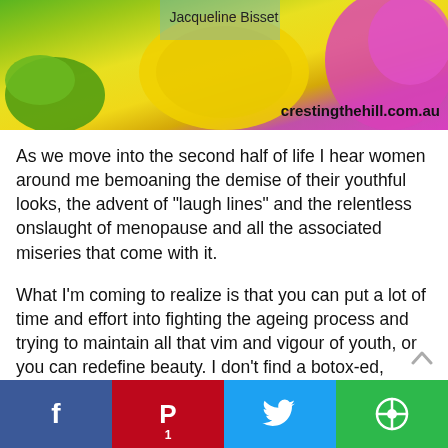[Figure (photo): Colorful header image with fruits and flowers, yellow plate, green bananas, pink flower. Text overlay: 'Jacqueline Bisset' and 'crestingthehill.com.au']
As we move into the second half of life I hear women around me bemoaning the demise of their youthful looks, the advent of "laugh lines" and the relentless onslaught of menopause and all the associated miseries that come with it.
What I'm coming to realize is that you can put a lot of time and effort into fighting the ageing process and trying to maintain all that vim and vigour of youth, or you can redefine beauty. I don't find a botox-ed, primped, preened and makeup laden older woman particularly beautiful. Yet, when I see a vibrant woman living in her own identity and investing in the lives of those around her, I am always brought up short in admiration and I'm often a little envious.
[Figure (infographic): Social share bar at the bottom: Facebook (blue), Pinterest (red) with count 1, Twitter (light blue), and a green share button]